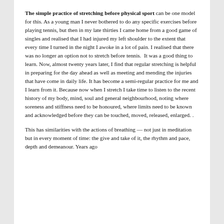The simple practice of stretching before physical sport can be one model for this. As a young man I never bothered to do any specific exercises before playing tennis, but then in my late thirties I came home from a good game of singles and realised that I had injured my left shoulder to the extent that every time I turned in the night I awoke in a lot of pain. I realised that there was no longer an option not to stretch before tennis.  It was a good thing to learn. Now, almost twenty years later, I find that regular stretching is helpful in preparing for the day ahead as well as meeting and mending the injuries that have come in daily life. It has become a semi-regular practice for me and I learn from it. Because now when I stretch I take time to listen to the recent history of my body, mind, soul and general neighbourhood, noting where soreness and stiffness need to be honoured, where limits need to be known and acknowledged before they can be touched, moved, released, enlarged. .
This has similarities with the actions of breathing — not just in meditation but in every moment of time: the give and take of it, the rhythm and pace, depth and demeanour. Years ago